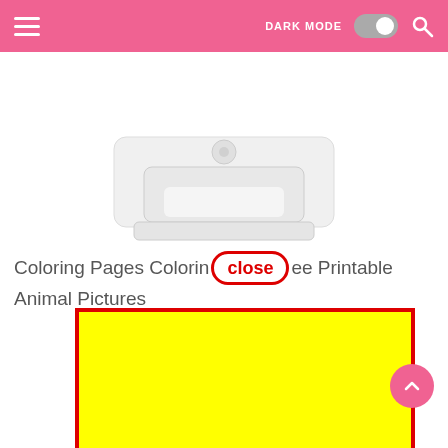DARK MODE [toggle] [search]
[Figure (photo): Partial view of a white printer device on a white background]
Coloring Pages Coloring [close] ee Printable Animal Pictures
[Figure (other): Large yellow rectangle with red border, representing an advertisement or content block]